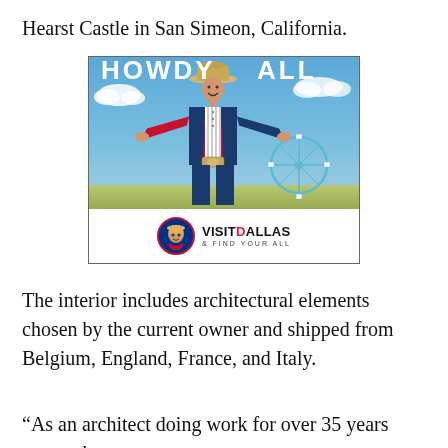Hearst Castle in San Simeon, California.
[Figure (advertisement): Visit Dallas advertisement featuring Big Tex mascot in cowboy hat with arms spread wide, text 'HOWDY ALL' at top, ferris wheel in background, Visit Dallas logo and tagline 'FIND YOUR ALL' at bottom.]
The interior includes architectural elements chosen by the current owner and shipped from Belgium, England, France, and Italy.
“As an architect doing work for over 35 years across the